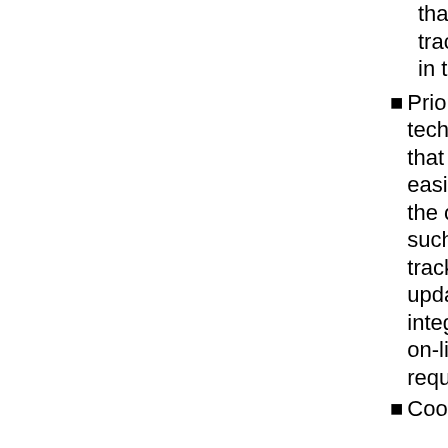that have robust data-tracking software to be used in transit decision-making
Prioritize funding for technological improvements that allow for greater and easier coordination between the operator and the user, such as real-time bus tracking, automatic status updates, Google Maps integration, schedules, and on-line reservations and ride requests
Coordinate